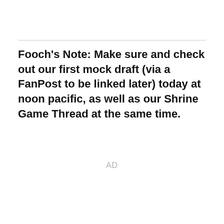Fooch's Note: Make sure and check out our first mock draft (via a FanPost to be linked later) today at noon pacific, as well as our Shrine Game Thread at the same time.
AD